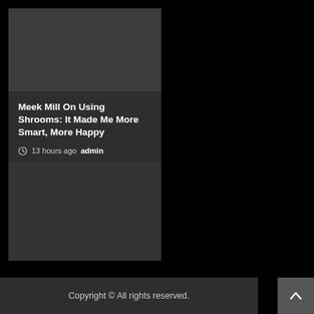[Figure (screenshot): Dark card with image placeholder at top and article content below]
Meek Mill On Using Shrooms: It Made Me More Smart, More Happy
13 hours ago  admin
Copyright © All rights reserved.